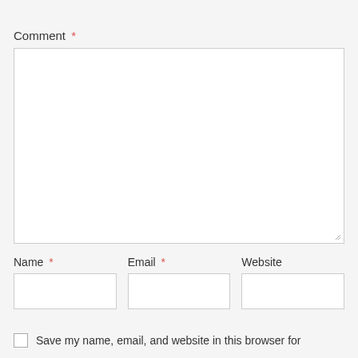Comment *
Name *
Email *
Website
Save my name, email, and website in this browser for